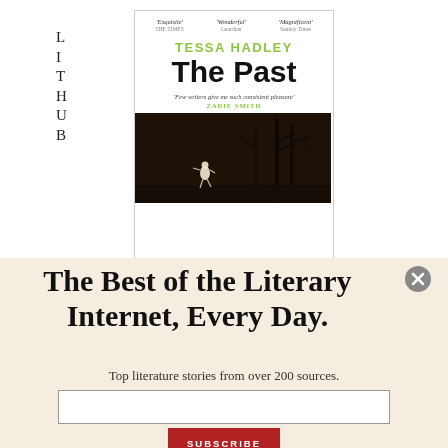[Figure (logo): Lit Hub logo — LIT HUB in spaced serif letters, two lines]
[Figure (photo): Book cover of 'The Past' by Tessa Hadley. White cover with blurbs at top ('Exquisite' The Times, 'Wonderful' Guardian, 'Magnificent' Sunday Times), author name in green, bold title 'The Past', Zadie Smith quote, and lower half shows a dark forest photo with a small girl in white running.]
The Best of the Literary Internet, Every Day.
Top literature stories from over 200 sources.